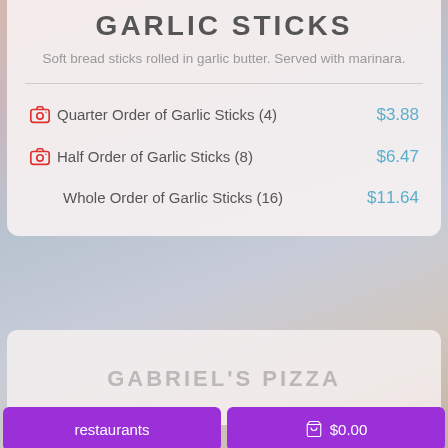GARLIC STICKS
Soft bread sticks rolled in garlic butter. Served with marinara.
Quarter Order of Garlic Sticks (4)  $3.88
Half Order of Garlic Sticks (8)  $6.47
Whole Order of Garlic Sticks (16)  $11.64
GABRIEL'S PIZZA
restaurants   $0.00